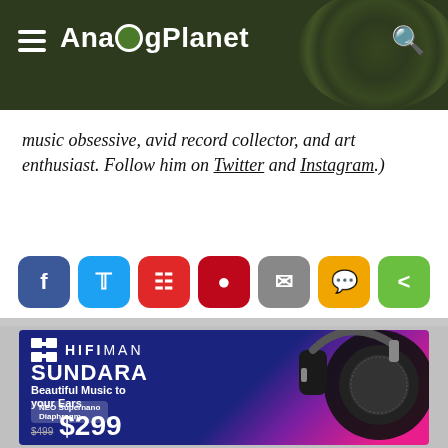AnalogPlanet
music obsessive, avid record collector, and art enthusiast. Follow him on Twitter and Instagram.)
[Figure (other): Social sharing buttons row: Facebook (blue), Twitter (light blue), Flipboard (red), Pinterest (dark red), Email (gray), SMS (yellow/orange), Share (green)]
[Figure (other): HIFIMAN advertisement banner for SUNDARA headphones. Text: HIFIMAN, SUNDARA, Beautiful Music to your Ears, NEO Supernano Diaphragm, $499 $299. Shows black over-ear headphones on a dark blue/purple/pink gradient background.]